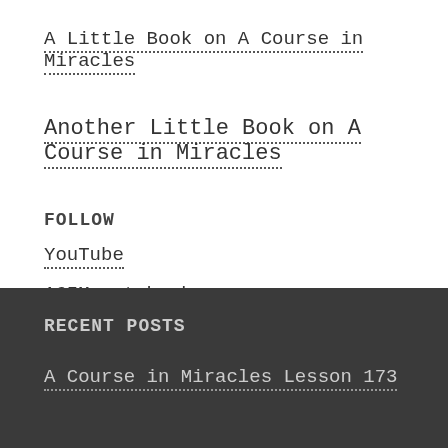A Little Book on A Course in Miracles
Another Little Book on A Course in Miracles
FOLLOW
YouTube
ACIM notebook
RECENT POSTS
A Course in Miracles Lesson 173